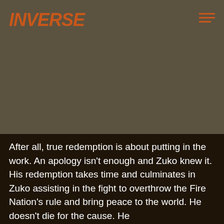INVERSE
[Figure (photo): Dark olive/brown background image area taking up approximately the top 60% of the page]
After all, true redemption is about putting in the work. An apology isn't enough and Zuko knew it. His redemption takes time and culminates in Zuko assisting in the fight to overthrow the Fire Nation's rule and bring peace to the world. He doesn't die for the cause. He